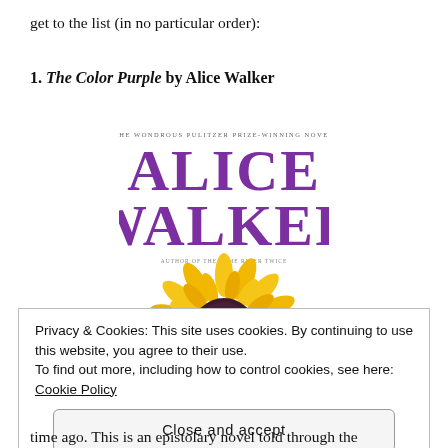get to the list (in no particular order):
1. The Color Purple by Alice Walker
[Figure (photo): Book cover of The Color Purple by Alice Walker, showing the author's name in large purple serif font and a sunflower in the lower half. Subtitle reads 'The Wondrous Pulitzer Prize-Winning Novel' and tagline 'Author of The Same River Twice'.]
Privacy & Cookies: This site uses cookies. By continuing to use this website, you agree to their use.
To find out more, including how to control cookies, see here: Cookie Policy
Close and accept
time ago. This is an epistolary novel told through the